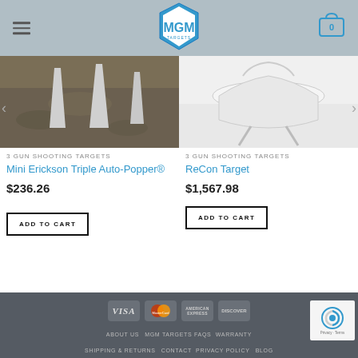[Figure (logo): MGM Targets logo - shield/hexagon shape with blue and white colors]
[Figure (photo): Mini Erickson Triple Auto-Popper steel shooting target stakes in dirt ground]
3 GUN SHOOTING TARGETS
Mini Erickson Triple Auto-Popper®
$236.26
ADD TO CART
[Figure (photo): ReCon Target white metal shooting target on grey background]
3 GUN SHOOTING TARGETS
ReCon Target
$1,567.98
ADD TO CART
[Figure (logo): Payment method logos: VISA, MasterCard, American Express, Discover]
ABOUT US  MGM TARGETS FAQS  WARRANTY  SHIPPING & RETURNS  CONTACT  PRIVACY POLICY  BLOG